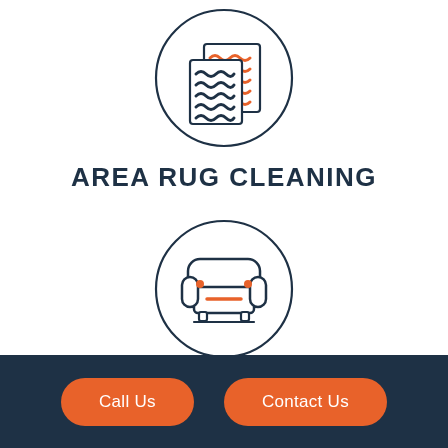[Figure (illustration): Area rug icon inside a circle: two overlapping rugs with wavy orange and dark teal lines on white background]
AREA RUG CLEANING
[Figure (illustration): Upholstery/armchair icon inside a circle: front view of an armchair with orange accent dots and orange horizontal line on dark teal outline]
UPHOLSTERY CLEANING
Call Us   Contact Us